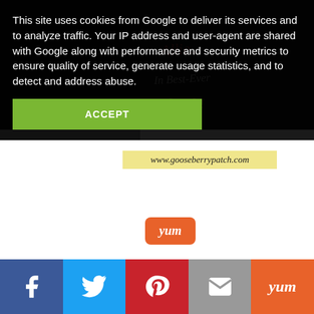This site uses cookies from Google to deliver its services and to analyze traffic. Your IP address and user-agent are shared with Google along with performance and security metrics to ensure quality of service, generate usage statistics, and to detect and address abuse.
ACCEPT
[Figure (screenshot): Partial book cover image with text partially visible, dark background]
www.gooseberrypatch.com
[Figure (logo): Yum button - orange rounded rectangle with 'yum' in white italic text]
[Figure (logo): Circular teal logo with a stylized W diamond shape in white on a teal circle background]
[Figure (infographic): Social share bar with Facebook, Twitter, Pinterest, Email, and Yum buttons]